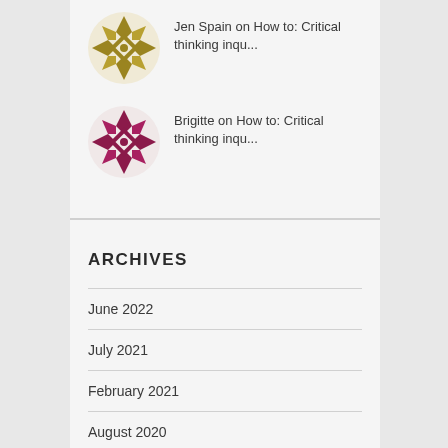[Figure (illustration): Decorative geometric snowflake/quilt avatar in olive/gold color]
Jen Spain on How to: Critical thinking inqu...
[Figure (illustration): Decorative geometric snowflake/quilt avatar in dark red/crimson color]
Brigitte on How to: Critical thinking inqu...
ARCHIVES
June 2022
July 2021
February 2021
August 2020
February 2020
January 2020